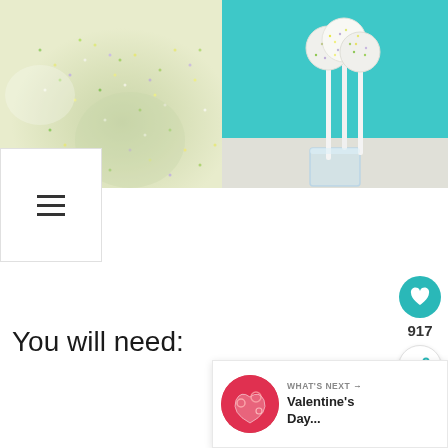[Figure (photo): Two photos side by side: left photo shows cake pops covered in colorful sprinkles in a bowl/plate, right photo shows white sprinkle-covered cake pops on sticks standing in a glass jar against a teal/turquoise background]
[Figure (screenshot): Menu icon (hamburger) in white box at left side]
[Figure (screenshot): Heart/like button (teal circle with heart icon) showing count of 917 and share button below]
[Figure (screenshot): What's Next panel with thumbnail and text: WHAT'S NEXT → Valentine's Day...]
You will need: